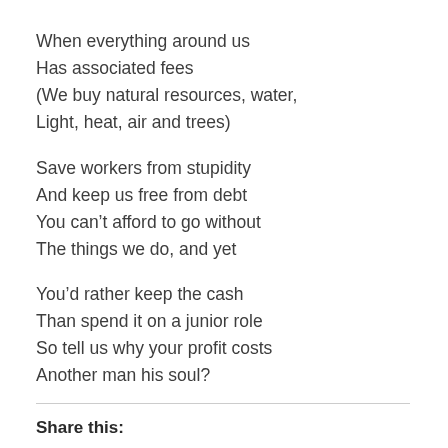When everything around us
Has associated fees
(We buy natural resources, water,
Light, heat, air and trees)
Save workers from stupidity
And keep us free from debt
You can’t afford to go without
The things we do, and yet
You’d rather keep the cash
Than spend it on a junior role
So tell us why your profit costs
Another man his soul?
Share this: